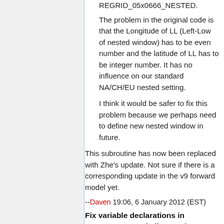REGRID_05x0666_NESTED.
The problem in the original code is that the Longitude of LL (Left-Low of nested window) has to be even number and the latitude of LL has to be integer number. It has no influence on our standard NA/CH/EU nested setting.
I think it would be safer to fix this problem because we perhaps need to define new nested window in future.
This subroutine has now been replaced with Zhe's update. Not sure if there is a corresponding update in the v9 forward model yet.
--Daven 19:06, 6 January 2012 (EST)
Fix variable declarations in UPBDELX_NOY (adj32_008)